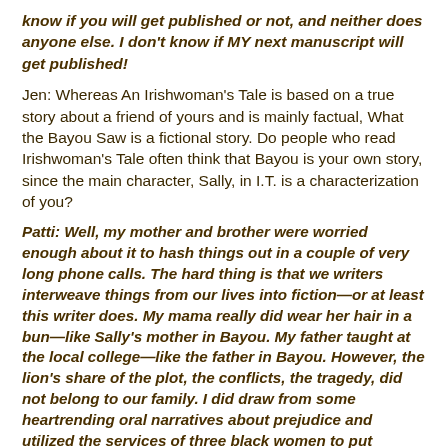know if you will get published or not, and neither does anyone else. I don't know if MY next manuscript will get published!
Jen: Whereas An Irishwoman's Tale is based on a true story about a friend of yours and is mainly factual, What the Bayou Saw is a fictional story. Do people who read Irishwoman's Tale often think that Bayou is your own story, since the main character, Sally, in I.T. is a characterization of you?
Patti: Well, my mother and brother were worried enough about it to hash things out in a couple of very long phone calls. The hard thing is that we writers interweave things from our lives into fiction—or at least this writer does. My mama really did wear her hair in a bun—like Sally's mother in Bayou. My father taught at the local college—like the father in Bayou. However, the lion's share of the plot, the conflicts, the tragedy, did not belong to our family. I did draw from some heartrending oral narratives about prejudice and utilized the services of three black women to put together my novel.